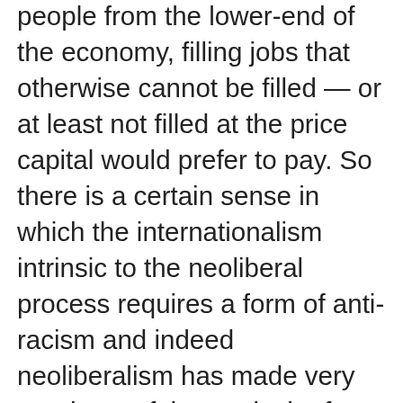people from the lower-end of the economy, filling jobs that otherwise cannot be filled — or at least not filled at the price capital would prefer to pay. So there is a certain sense in which the internationalism intrinsic to the neoliberal process requires a form of anti-racism and indeed neoliberalism has made very good use of the particular form we've evolved, multiculturalism, in two ways.
First, there isn't a single US corporation that doesn't have an HR office committed to respecting the differences between cultures, to making sure that your culture is respected whether or not your standard of living is. And, second, multiculturalism and diversity more generally are even more effective as a legitimizing tool, because they